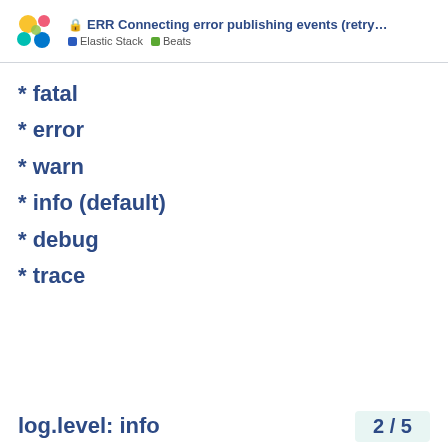ERR Connecting error publishing events (retry... | Elastic Stack | Beats
* fatal
* error
* warn
* info (default)
* debug
* trace
log.level: info
2 / 5